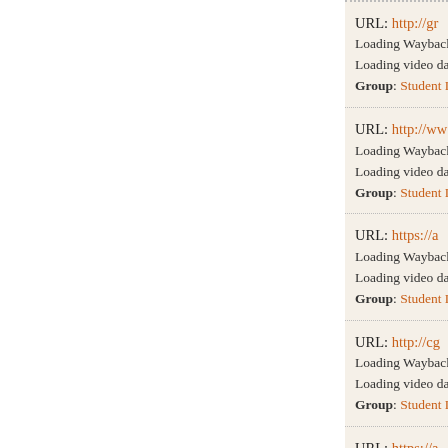URL: http://gr... Loading Wayback C... Loading video data... Group: Student Li...
URL: http://ww... Loading Wayback C... Loading video data... Group: Student Li...
URL: https://a... Loading Wayback C... Loading video data... Group: Student Li...
URL: http://cg... Loading Wayback C... Loading video data... Group: Student Li...
URL: https://a...